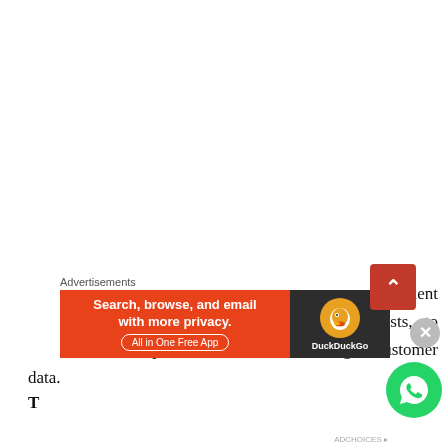Cyber Security NSW managed the NSW Government investigation with the help of forensic specialists, to understand the impact of the breach, including to customer data.
[Figure (screenshot): DuckDuckGo advertisement banner with orange-red background. Left side text: 'Search, browse, and email with more privacy. All in One Free App'. Right side: DuckDuckGo logo on dark background. Labeled 'Advertisements'.]